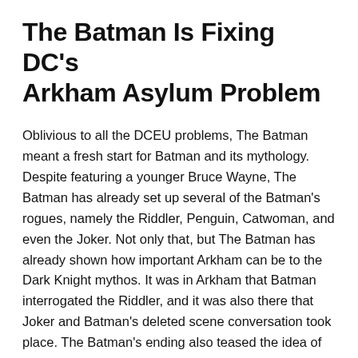The Batman Is Fixing DC's Arkham Asylum Problem
Oblivious to all the DCEU problems, The Batman meant a fresh start for Batman and its mythology. Despite featuring a younger Bruce Wayne, The Batman has already set up several of the Batman's rogues, namely the Riddler, Penguin, Catwoman, and even the Joker. Not only that, but The Batman has already shown how important Arkham can be to the Dark Knight mythos. It was in Arkham that Batman interrogated the Riddler, and it was also there that Joker and Batman's deleted scene conversation took place. The Batman's ending also teased the idea of villains like Joker and Riddler teaming up and coming up with plans inside Arkham, which happens very often in Batman comics.